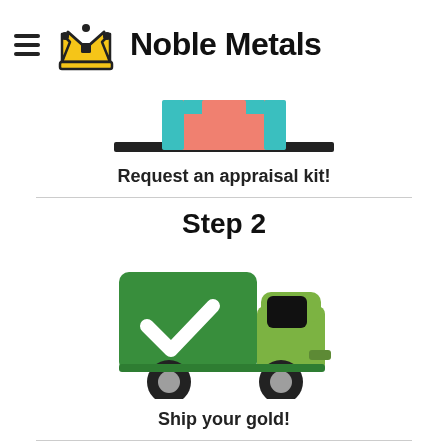[Figure (logo): Noble Metals logo with crown icon and hamburger menu]
[Figure (illustration): Partial image of appraisal kit box/device (cropped at top)]
Request an appraisal kit!
Step 2
[Figure (illustration): Green delivery truck with white checkmark on the cargo side]
Ship your gold!